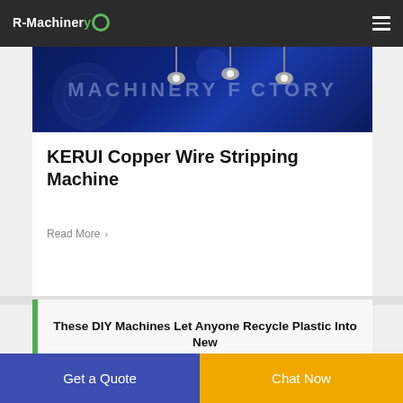R-Machinery
[Figure (photo): Dark blue machinery factory background with light fixtures and 'MACHINERY FACTORY' text overlay]
KERUI Copper Wire Stripping Machine
Read More >
These DIY Machines Let Anyone Recycle Plastic Into New
Get a Quote
Chat Now